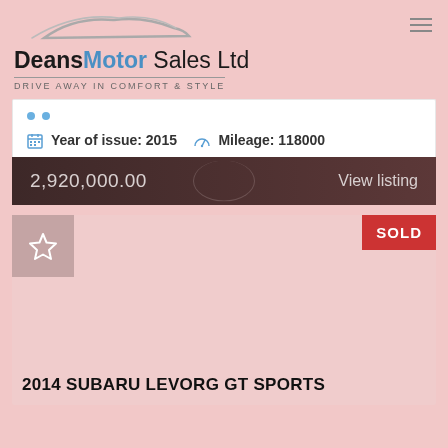Deans Motor Sales Ltd — DRIVE AWAY IN COMFORT & STYLE
Year of issue: 2015  Mileage: 118000
2,920,000.00  View listing
[Figure (screenshot): Car listing card with SOLD badge, star/favorite icon, and car title 2014 SUBARU LEVORG GT SPORTS]
2014 SUBARU LEVORG GT SPORTS